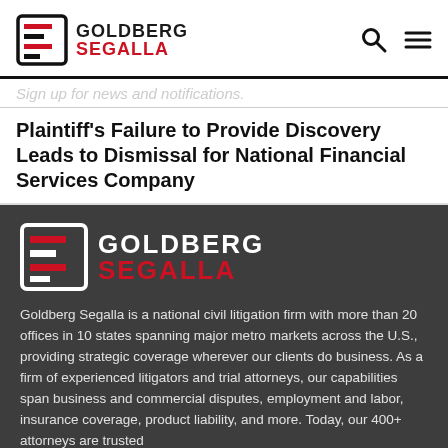GOLDBERG SEGALLA
Sign up for news and notifications.
Plaintiff's Failure to Provide Discovery Leads to Dismissal for National Financial Services Company
[Figure (logo): Goldberg Segalla logo — white text on dark background]
Goldberg Segalla is a national civil litigation firm with more than 20 offices in 10 states spanning major metro markets across the U.S., providing strategic coverage wherever our clients do business. As a firm of experienced litigators and trial attorneys, our capabilities span business and commercial disputes, employment and labor, insurance coverage, product liability, and more. Today, our 400+ attorneys are trusted